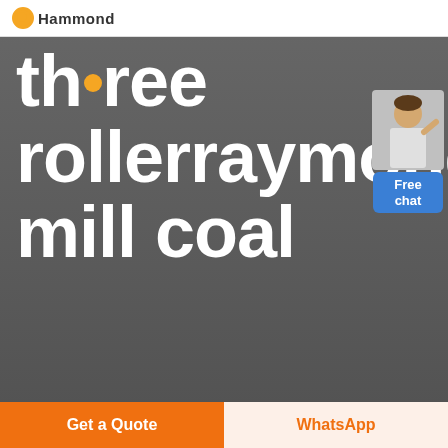Hammond
three rollerraymond mill coal
[Figure (illustration): Customer service representative figure with 'Free chat' blue button widget in top right]
Get a Quote
WhatsApp